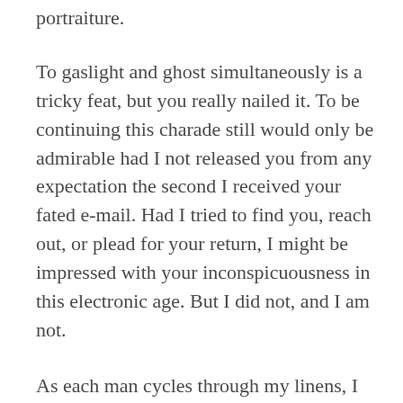portraiture.
To gaslight and ghost simultaneously is a tricky feat, but you really nailed it. To be continuing this charade still would only be admirable had I not released you from any expectation the second I received your fated e-mail. Had I tried to find you, reach out, or plead for your return, I might be impressed with your inconspicuousness in this electronic age. But I did not, and I am not.
As each man cycles through my linens, I lose grasp of the self I was using them to